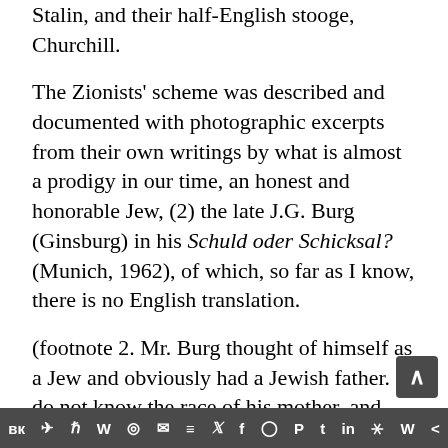Stalin, and their half-English stooge, Churchill.
The Zionists' scheme was described and documented with photographic excerpts from their own writings by what is almost a prodigy in our time, an honest and honorable Jew, (2) the late J.G. Burg (Ginsburg) in his Schuld oder Schicksal? (Munich, 1962), of which, so far as I know, there is no English translation.
(footnote 2. Mr. Burg thought of himself as a Jew and obviously had a Jewish father. I do not know the race of his mother, and hence cannot tell you whether or not he was considered a real Jew according to that race's definition. He testified on behalf of Ernst Zündel in the recent trial in
вк ✈ ℏ W ◎ ✉ ≡ 𝕏 f ◯ P t in ⚹ W <